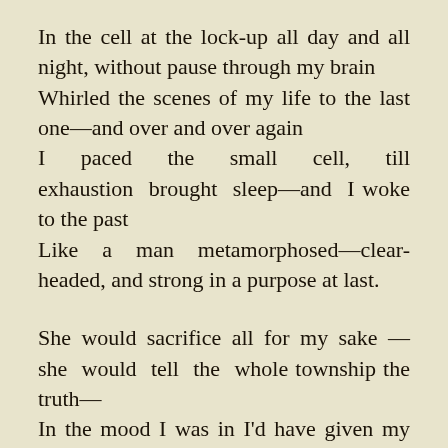In the cell at the lock-up all day and all night, without pause through my brain
Whirled the scenes of my life to the last one—and over and over again
I paced the small cell, till exhaustion brought sleep—and I woke to the past
Like a man metamorphosed—clear-headed, and strong in a purpose at last.
She would sacrifice all for my sake—she would tell the whole township the truth—
In the mood I was in I'd have given my life for a moment with Ruth;
But still, as I thought, from without